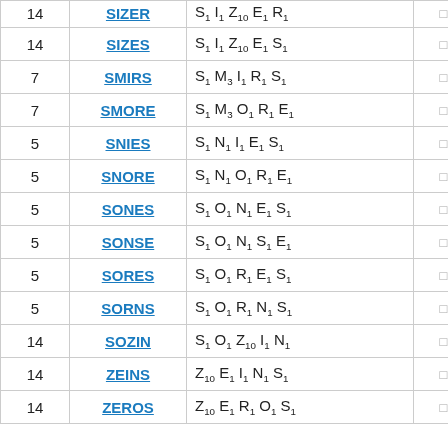| Score | Word | Tiles |  |  |
| --- | --- | --- | --- | --- |
| 14 | SIZER | S₁ I₁ Z₁₀ E₁ R₁ | □ | □ |
| 14 | SIZES | S₁ I₁ Z₁₀ E₁ S₁ | □ | □ |
| 7 | SMIRS | S₁ M₃ I₁ R₁ S₁ | □ | □ |
| 7 | SMORE | S₁ M₃ O₁ R₁ E₁ | □ | □ |
| 5 | SNIES | S₁ N₁ I₁ E₁ S₁ | □ | □ |
| 5 | SNORE | S₁ N₁ O₁ R₁ E₁ | □ | □ |
| 5 | SONES | S₁ O₁ N₁ E₁ S₁ | □ | □ |
| 5 | SONSE | S₁ O₁ N₁ S₁ E₁ | □ | □ |
| 5 | SORES | S₁ O₁ R₁ E₁ S₁ | □ | □ |
| 5 | SORNS | S₁ O₁ R₁ N₁ S₁ | □ | □ |
| 14 | SOZIN | S₁ O₁ Z₁₀ I₁ N₁ | □ | □ |
| 14 | ZEINS | Z₁₀ E₁ I₁ N₁ S₁ | □ | □ |
| 14 | ZEROS | Z₁₀ E₁ R₁ O₁ S₁ | □ | □ |